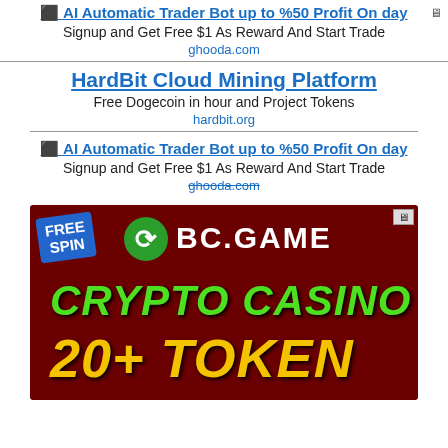⬛ AI Automatic Trader Bot up to %50 Profit On day
Signup and Get Free $1 As Reward And Start Trade
ghooda.com
HardBit Cloud Mining Platform
Free Dogecoin in hour and Project Tokens
hardbit.org
⬛ AI Automatic Trader Bot up to %50 Profit On day
Signup and Get Free $1 As Reward And Start Trade
ghooda.com
[Figure (photo): BC.GAME Crypto Casino advertisement banner with dark red background, green 'CRYPTO CASINO' text, yellow '20+ TOKEN' text, free spin badge, and decorative coin graphics]